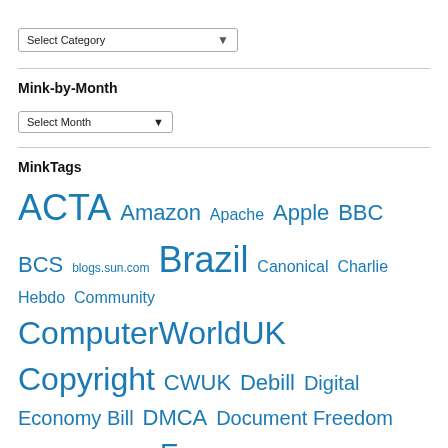[Figure (screenshot): Select Category dropdown widget]
Mink-by-Month
[Figure (screenshot): Select Month dropdown widget]
MinkTags
ACTA Amazon Apache Apple BBC BCS blogs.sun.com Brazil Canonical Charlie Hebdo Community ComputerWorldUK Copyright CWUK Debill Digital Economy Bill DMCA Document Freedom Day DRM Election Essays Europe European Parliament